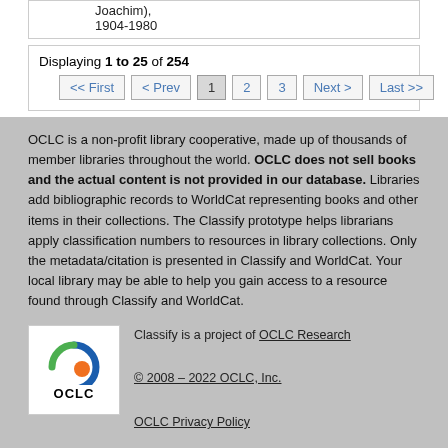Joachim), 1904-1980
Displaying 1 to 25 of 254
OCLC is a non-profit library cooperative, made up of thousands of member libraries throughout the world. OCLC does not sell books and the actual content is not provided in our database. Libraries add bibliographic records to WorldCat representing books and other items in their collections. The Classify prototype helps librarians apply classification numbers to resources in library collections. Only the metadata/citation is presented in Classify and WorldCat. Your local library may be able to help you gain access to a resource found through Classify and WorldCat.
[Figure (logo): OCLC logo with circular swoosh in blue, green, orange colors and OCLC text below]
Classify is a project of OCLC Research
© 2008 – 2022 OCLC, Inc.
OCLC Privacy Policy
OCLC ResearchWorks